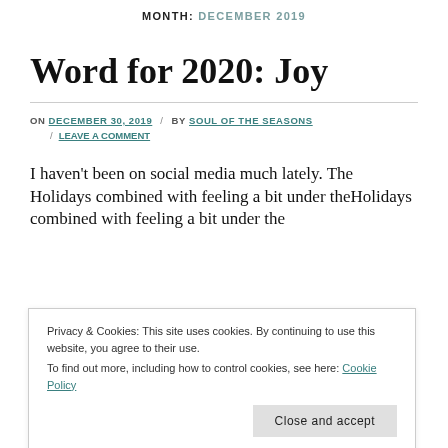MONTH: DECEMBER 2019
Word for 2020: Joy
ON DECEMBER 30, 2019 / BY SOUL OF THE SEASONS / LEAVE A COMMENT
I haven't been on social media much lately. The Holidays combined with feeling a bit under the
Privacy & Cookies: This site uses cookies. By continuing to use this website, you agree to their use.
To find out more, including how to control cookies, see here: Cookie Policy
Day to represent what I want to experience in the